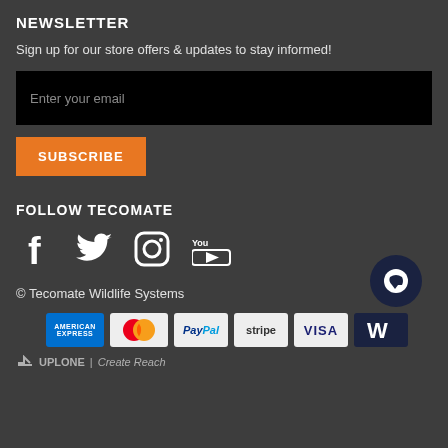NEWSLETTER
Sign up for our store offers & updates to stay informed!
Enter your email
SUBSCRIBE
FOLLOW TECOMATE
[Figure (illustration): Social media icons: Facebook, Twitter, Instagram, YouTube]
© Tecomate Wildlife Systems
[Figure (illustration): Payment method logos: American Express, MasterCard, PayPal, Stripe, Visa, Worldpay]
↗ UPLONE | Create Reach